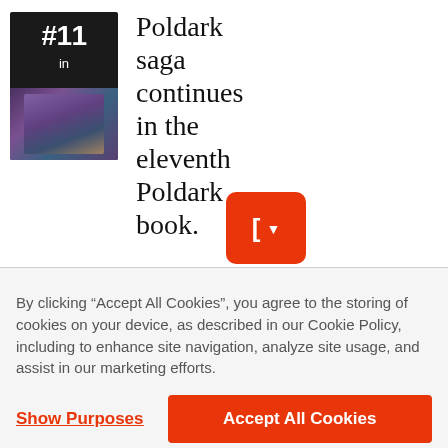[Figure (illustration): Book cover showing #11 in with a dark background and illustrated scene, representing a Poldark series book]
Poldark saga continues in the eleventh Poldark book.
[Figure (other): Red add button with bracket and dropdown arrow]
By clicking “Accept All Cookies”, you agree to the storing of cookies on your device, as described in our Cookie Policy, including to enhance site navigation, analyze site usage, and assist in our marketing efforts.
Show Purposes
Accept All Cookies